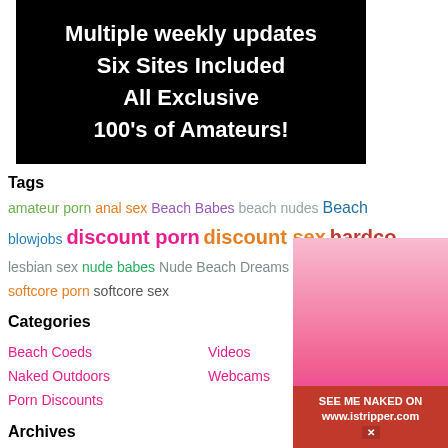[Figure (illustration): Black banner advertisement with white bold text listing features: Multiple weekly updates, Six Sites Included, All Exclusive, 100's of Amateurs!]
Tags
amateur porn anal sex Beach Babes beach nudes Beach blowjobs discount porn discount sex hardco lesbian sex nude babes Nude Beach Dreams Nude Beach Gir softcore porn softcore sex
Categories
Beach Coeds
Videos
Naked Outdoors
Webcams
Porn Discounts
Archives
August 2022
July 2019
[Figure (photo): Promotional photo of a blonde woman in pink lingerie with istripper.com advertisement banner]